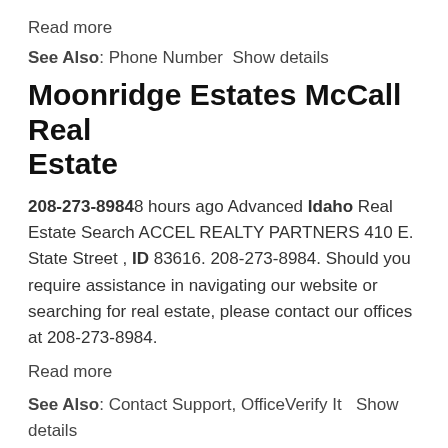Read more
See Also: Phone Number  Show details
Moonridge Estates McCall Real Estate
208-273-89848 hours ago Advanced Idaho Real Estate Search ACCEL REALTY PARTNERS 410 E. State Street , ID 83616. 208-273-8984. Should you require assistance in navigating our website or searching for real estate, please contact our offices at 208-273-8984.
Read more
See Also: Contact Support, OfficeVerify It   Show details